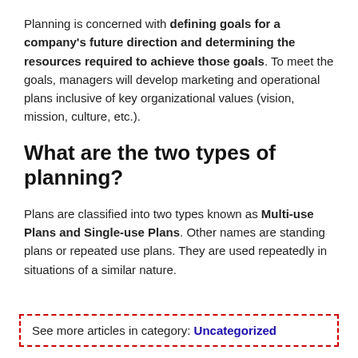Planning is concerned with defining goals for a company's future direction and determining the resources required to achieve those goals. To meet the goals, managers will develop marketing and operational plans inclusive of key organizational values (vision, mission, culture, etc.).
What are the two types of planning?
Plans are classified into two types known as Multi-use Plans and Single-use Plans. Other names are standing plans or repeated use plans. They are used repeatedly in situations of a similar nature.
See more articles in category: Uncategorized